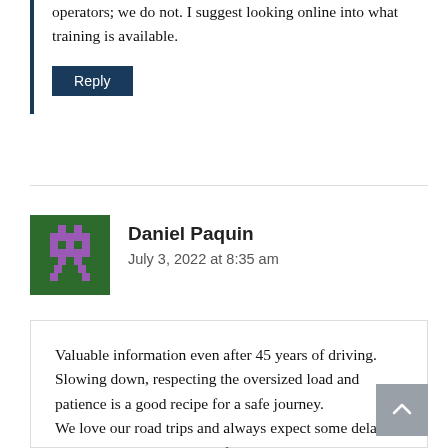operators; we do not. I suggest looking online into what training is available.
Reply
Daniel Paquin
July 3, 2022 at 8:35 am
Valuable information even after 45 years of driving. Slowing down, respecting the oversized load and patience is a good recipe for a safe journey.
We love our road trips and always expect some delays on BC highways, it's part of the trip.